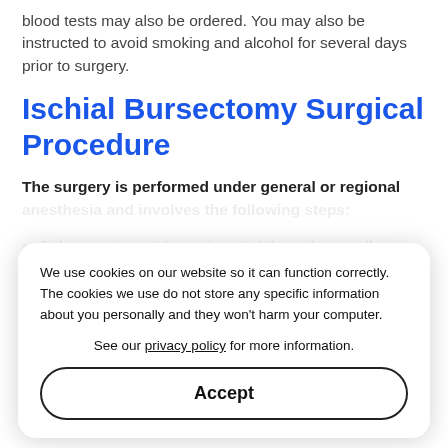blood tests may also be ordered. You may also be instructed to avoid smoking and alcohol for several days prior to surgery.
Ischial Bursectomy Surgical Procedure
The surgery is performed under general or regional anesthesia and involves the following steps:
Arthroscopic portals are inserted through a small incision at the joint.
Your camera offers you of all the instruments that view the in…
Special surgical instruments are inserted through another small incision.
Your surgeon carefully removes the inflamed bursae.
We use cookies on our website so it can function correctly. The cookies we use do not store any specific information about you personally and they won't harm your computer.

See our privacy policy for more information.